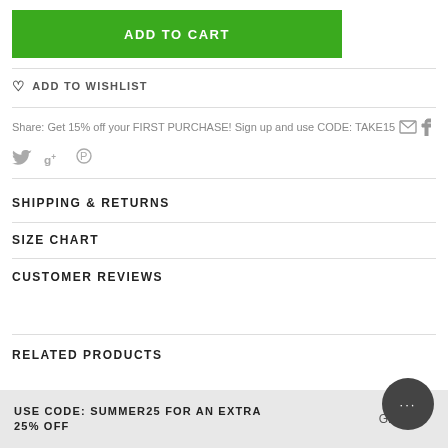ADD TO CART
♡ ADD TO WISHLIST
Share: Get 15% off your FIRST PURCHASE! Sign up and use CODE: TAKE15
SHIPPING & RETURNS
SIZE CHART
CUSTOMER REVIEWS
RELATED PRODUCTS
USE CODE: SUMMER25 FOR AN EXTRA 25% OFF